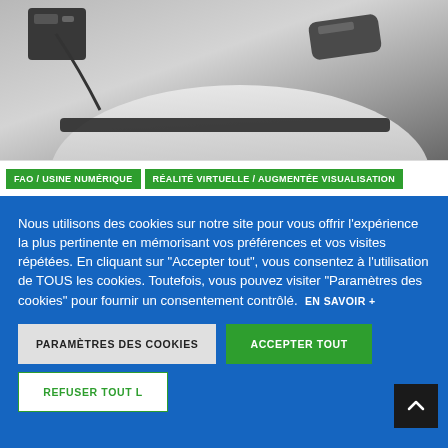[Figure (photo): Grayscale photo of industrial machinery with a belt/roller and a device attached, viewed from close up.]
FAO / USINE NUMÉRIQUE   RÉALITÉ VIRTUELLE / AUGMENTÉE VISUALISATION
Nous utilisons des cookies sur notre site pour vous offrir l'expérience la plus pertinente en mémorisant vos préférences et vos visites répétées. En cliquant sur "Accepter tout", vous consentez à l'utilisation de TOUS les cookies. Toutefois, vous pouvez visiter "Paramètres des cookies" pour fournir un consentement contrôlé. EN SAVOIR +
PARAMÈTRES DES COOKIES
ACCEPTER TOUT
REFUSER TOUT L